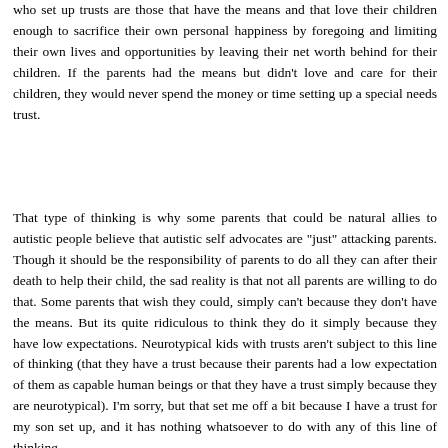who set up trusts are those that have the means and that love their children enough to sacrifice their own personal happiness by foregoing and limiting their own lives and opportunities by leaving their net worth behind for their children. If the parents had the means but didn't love and care for their children, they would never spend the money or time setting up a special needs trust.
That type of thinking is why some parents that could be natural allies to autistic people believe that autistic self advocates are "just" attacking parents. Though it should be the responsibility of parents to do all they can after their death to help their child, the sad reality is that not all parents are willing to do that. Some parents that wish they could, simply can't because they don't have the means. But its quite ridiculous to think they do it simply because they have low expectations. Neurotypical kids with trusts aren't subject to this line of thinking (that they have a trust because their parents had a low expectation of them as capable human beings or that they have a trust simply because they are neurotypical). I'm sorry, but that set me off a bit because I have a trust for my son set up, and it has nothing whatsoever to do with any of this line of thinking